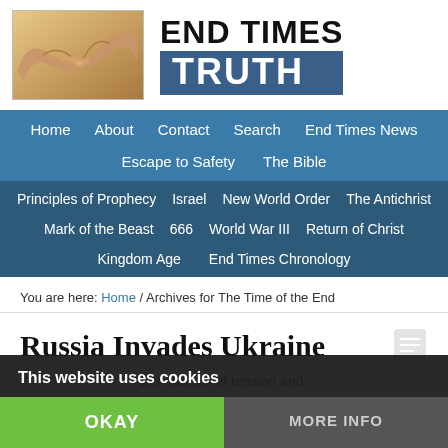[Figure (logo): End Times Truth website logo with hands image and site name]
Home | About | Contact | Search | End Times News | Escape to Safety | The Bible
Principles of Prophecy | Israel | New World Order | The Antichrist | Mark of the Beast | 666 | World War III | Return of Christ | Kingdom Age | End Times Chronology
You are here: Home / Archives for The Time of the End
Russia Invades Ukraine
After months of tension and threats by Russia toward Ukraine, the an military forces moved north,
This website uses cookies
OKAY
MORE INFO